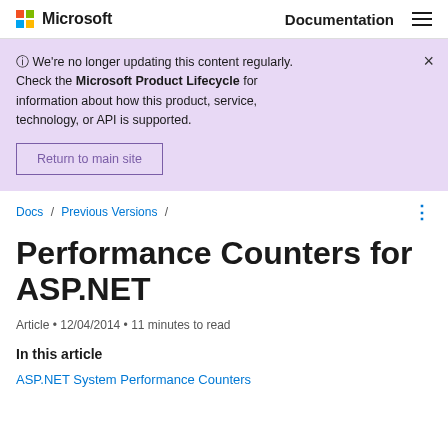Microsoft  Documentation
ⓘ We're no longer updating this content regularly. Check the Microsoft Product Lifecycle for information about how this product, service, technology, or API is supported.
Return to main site
Docs / Previous Versions /
Performance Counters for ASP.NET
Article • 12/04/2014 • 11 minutes to read
In this article
ASP.NET System Performance Counters